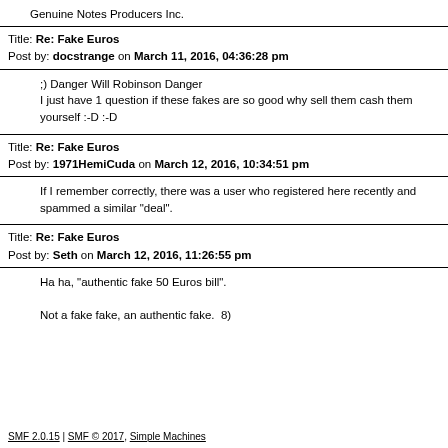Genuine Notes Producers Inc.
Title: Re: Fake Euros
Post by: docstrange on March 11, 2016, 04:36:28 pm
;) Danger Will Robinson Danger
I just have 1 question if these fakes are so good why sell them cash them yourself :-D :-D
Title: Re: Fake Euros
Post by: 1971HemiCuda on March 12, 2016, 10:34:51 pm
If I remember correctly, there was a user who registered here recently and spammed a similar "deal".
Title: Re: Fake Euros
Post by: Seth on March 12, 2016, 11:26:55 pm
Ha ha, "authentic fake 50 Euros bill".

Not a fake fake, an authentic fake.  8)
SMF 2.0.15 | SMF © 2017, Simple Machines